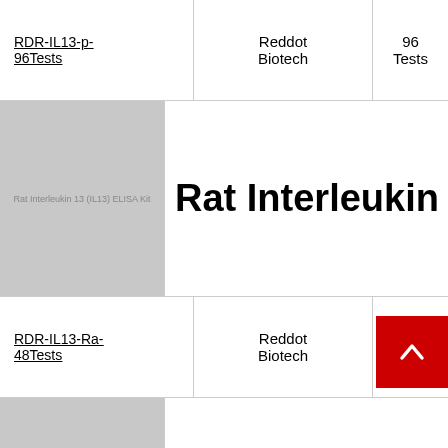| Product Code | Brand | Size |
| --- | --- | --- |
| RDR-IL13-p-96Tests | Reddot Biotech | 96 Tests |
| Rat Interleukin 13 (IL13) EL... |  |  |
| RDR-IL13-Ra-48Tests | Reddot Biotech | 48 Tests |
| Rat Interleukin 13 (IL13) EL... |  |  |
| RDR-IL13-Ra-96Tests | Reddot Biotech | 96 Tests |
| Bovine Interleukin 13 (IL13... |  |  |